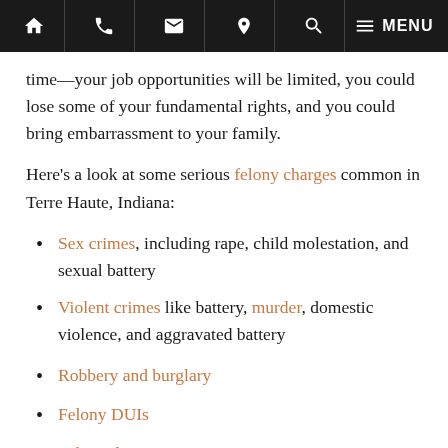Home | Phone | Email | Location | Search | Menu
time—your job opportunities will be limited, you could lose some of your fundamental rights, and you could bring embarrassment to your family.
Here's a look at some serious felony charges common in Terre Haute, Indiana:
Sex crimes, including rape, child molestation, and sexual battery
Violent crimes like battery, murder, domestic violence, and aggravated battery
Robbery and burglary
Felony DUIs
Felony drug crimes
Auto theft